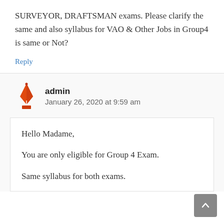SURVEYOR, DRAFTSMAN exams. Please clarify the same and also syllabus for VAO & Other Jobs in Group4 is same or Not?
Reply
admin
January 26, 2020 at 9:59 am
Hello Madame,
You are only eligible for Group 4 Exam.
Same syllabus for both exams.